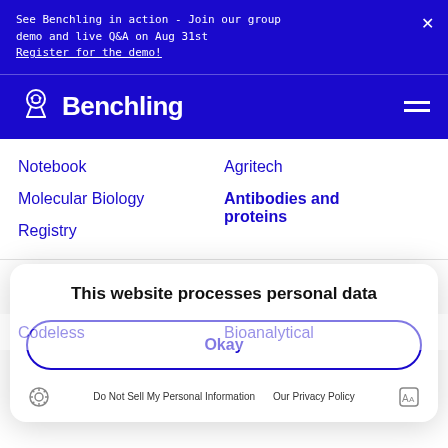See Benchling in action - Join our group demo and live Q&A on Aug 31st Register for the demo!
[Figure (logo): Benchling logo with robot/scientist icon and wordmark on blue background]
Notebook
Molecular Biology
Registry
Agritech
Antibodies and proteins
This website processes personal data
Okay
Do Not Sell My Personal Information   Our Privacy Policy
Codeless
Bioanalytical